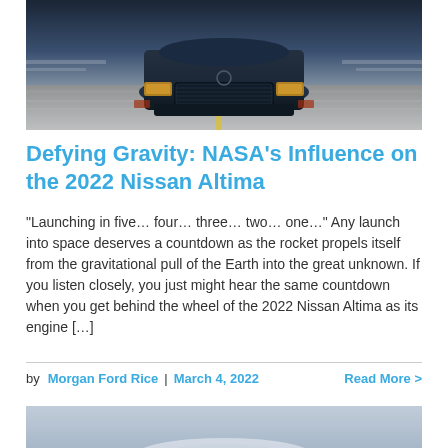[Figure (photo): Front view of a dark blue 2022 Nissan Altima driving on a road, motion-blurred background]
Defying Gravity: NASA’s Influence on the 2022 Nissan Altima
“Launching in five… four… three… two… one…” Any launch into space deserves a countdown as the rocket propels itself from the gravitational pull of the Earth into the great unknown. If you listen closely, you just might hear the same countdown when you get behind the wheel of the 2022 Nissan Altima as its engine […]
by Morgan Ford Rice | March 4, 2022   Read More >
[Figure (photo): Partial view of another car article image at the bottom of the page]